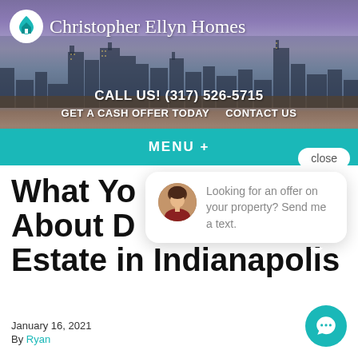[Figure (screenshot): Christopher Ellyn Homes website header with Indianapolis skyline background, logo with house icon, phone number, navigation links, teal menu bar, close button, chat popup bubble with agent photo and message, and partial article title]
Christopher Ellyn Homes
CALL US! (317) 526-5715
GET A CASH OFFER TODAY   CONTACT US
MENU  +
close
Looking for an offer on your property? Send me a text.
What Yo... About D... Estate in Indianapolis
January 16, 2021
By Ryan